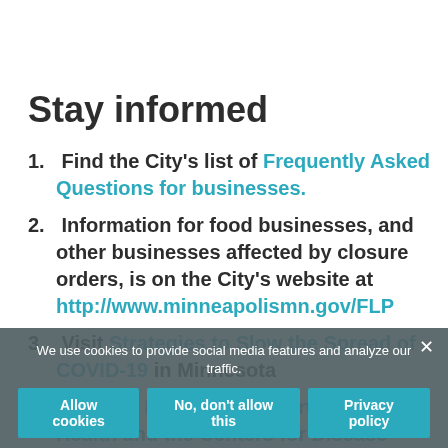Stay informed
Find the City's list of Frequently Asked Questions for businesses.
Information for food businesses, and other businesses affected by closure orders, is on the City's website at http://www.minneapolismn.gov/FLP
Visit Strategies to Slow the Spread of COVID-19 in Minnesota
Visit the Minnesota Department of Health and the Centers for Disease Control and Prevention websites often
We use cookies to provide social media features and analyze our traffic.
Allow cookies | No, don't allow this | Privacy policy